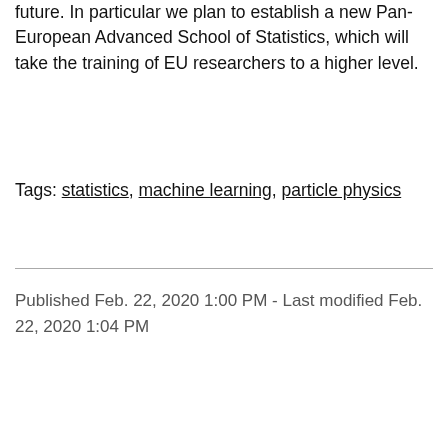future. In particular we plan to establish a new Pan-European Advanced School of Statistics, which will take the training of EU researchers to a higher level.
Tags: statistics, machine learning, particle physics
Published Feb. 22, 2020 1:00 PM - Last modified Feb. 22, 2020 1:04 PM